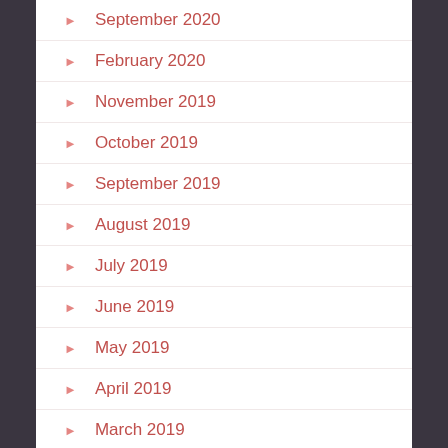September 2020
February 2020
November 2019
October 2019
September 2019
August 2019
July 2019
June 2019
May 2019
April 2019
March 2019
February 2019
December 2018
November 2018
October 2018